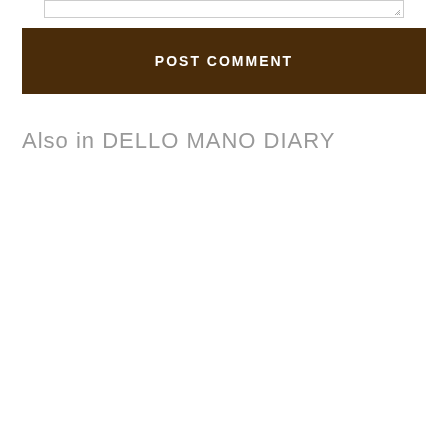[Figure (screenshot): Text area input box with resize handle at bottom right corner]
POST COMMENT
Also in DELLO MANO DIARY